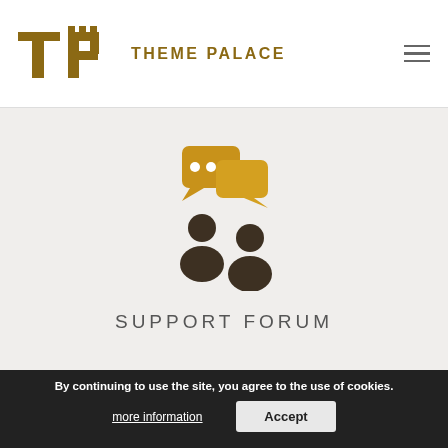THEME PALACE
[Figure (illustration): Two person icons with speech/chat bubbles above them, representing a support forum. Icons are in golden-brown and dark brown colors.]
SUPPORT FORUM
We use cookies on our website to give you the most relevant experience by remembering your preferences and repeat visits. By clicking “Accept All”, you consent to the use of ALL the cookies. However, you may visit "Cookie Settings" to provide a controlled consent.
By continuing to use the site, you agree to the use of cookies.
more information
Accept